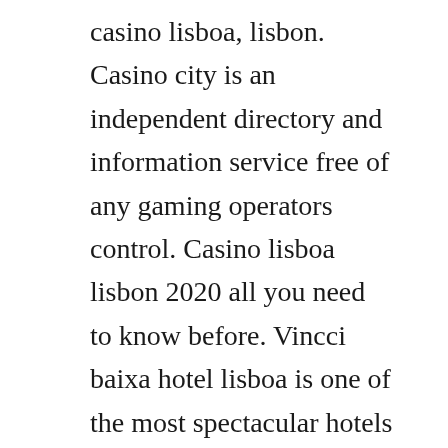casino lisboa, lisbon. Casino city is an independent directory and information service free of any gaming operators control. Casino lisboa lisbon 2020 all you need to know before. Vincci baixa hotel lisboa is one of the most spectacular hotels in portugal.
Directed by gary boyle shot in bangkok early 20 from the album drifterslove is the devil zoo music. Part of an upandcoming tourist attraction centre, casino lisboa enjoys a privileged location, served by four hotels and surrounded by several infrastructure services